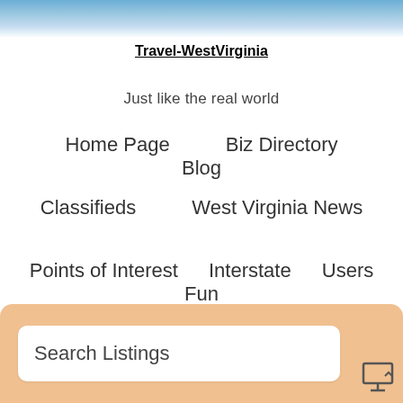[Figure (photo): Sky with clouds header banner image]
Travel-WestVirginia
Just like the real world
Home Page
Biz Directory
Blog
Classifieds
West Virginia News
Points of Interest
Interstate
Users
Fun
Contact
About
Search Listings